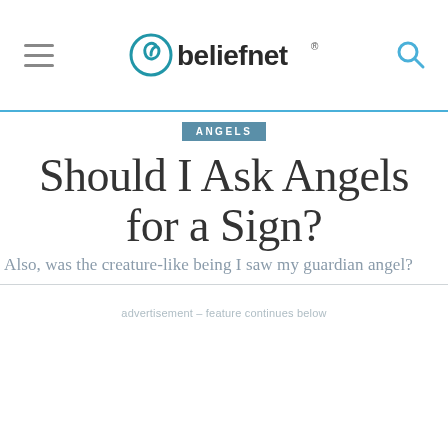beliefnet
ANGELS
Should I Ask Angels for a Sign?
Also, was the creature-like being I saw my guardian angel?
advertisement – feature continues below